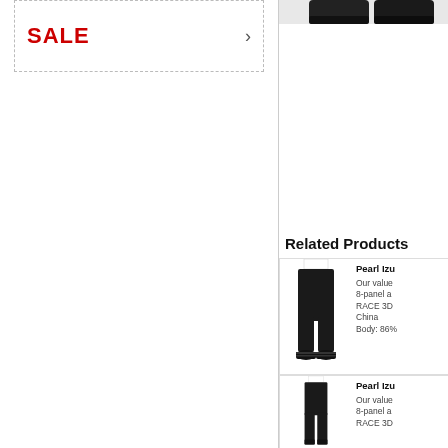SALE
[Figure (photo): Partial view of cycling shoes at the top right corner]
Related Products
[Figure (photo): Person wearing black cycling 3/4 tights with cycling shoes]
Pearl Izu Our value 8-panel a RACE 3D China Body: 86%
[Figure (photo): Person wearing black full-length cycling tights with cycling shoes]
Pearl Izu Our value 8-panel a RACE 3D